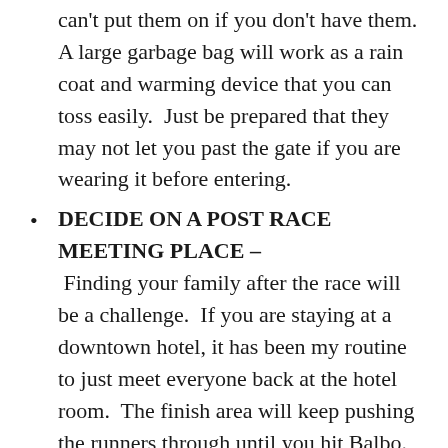can't put them on if you don't have them.  A large garbage bag will work as a rain coat and warming device that you can toss easily.  Just be prepared that they may not let you past the gate if you are wearing it before entering.
DECIDE ON A POST RACE MEETING PLACE – Finding your family after the race will be a challenge.  If you are staying at a downtown hotel, it has been my routine to just meet everyone back at the hotel room.  The finish area will keep pushing the runners through until you hit Balbo.  If you pick a common place to meet, say like Buckingham Fountain, expect to find that half the field has chosen that as their meet up place.  Pick one away from the crowds and the